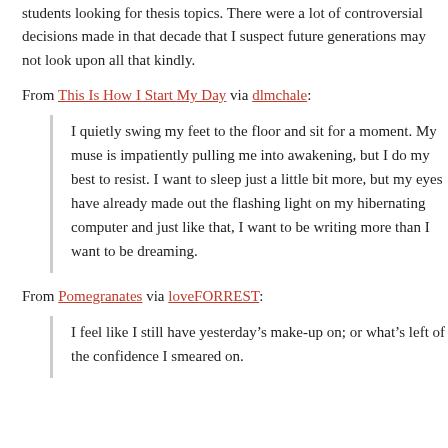students looking for thesis topics. There were a lot of controversial decisions made in that decade that I suspect future generations may not look upon all that kindly.
From This Is How I Start My Day via dlmchale:
I quietly swing my feet to the floor and sit for a moment. My muse is impatiently pulling me into awakening, but I do my best to resist. I want to sleep just a little bit more, but my eyes have already made out the flashing light on my hibernating computer and just like that, I want to be writing more than I want to be dreaming.
From Pomegranates via loveFORREST:
I feel like I still have yesterday’s make-up on; or what’s left of the confidence I smeared on.